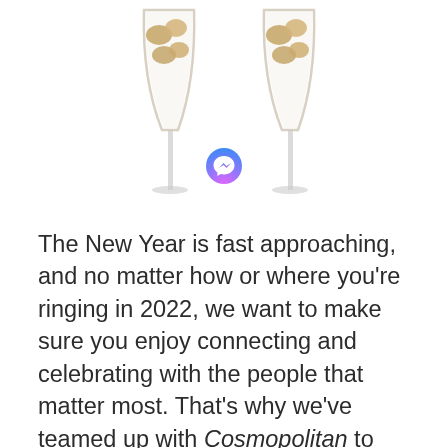[Figure (illustration): Two champagne flutes with nugget-shaped crackers/snacks, clinking together, partially cropped at top. A Facebook Messenger icon (purple/blue gradient circle with lightning bolt) overlaid at the bottom center of the glasses.]
The New Year is fast approaching, and no matter how or where you're ringing in 2022, we want to make sure you enjoy connecting and celebrating with the people that matter most. That's why we've teamed up with Cosmopolitan to help you toast with your crew in style… whether you're out on the town or at home in your PJ's. 🍾
Developed in partnership with Cosmopolitan today we're releasing [video called] ... the attractive ... unique and chic ... shape with friends ... with Nugget Cheer... nuggets from 2022...
To help personalize content, tailor and measure ads, and provide a safer experience, we use cookies. By clicking or navigating the site, you agree to allow our collection of information on and off Facebook through cookies. Learn more, including about available controls: Cookies Policy